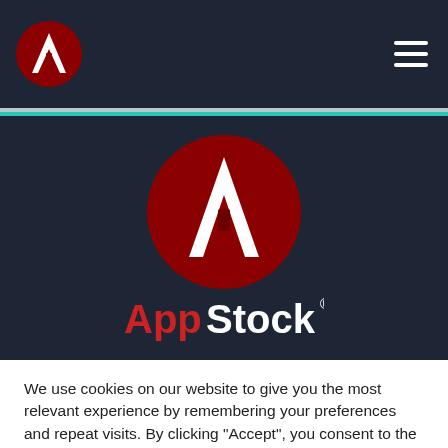[Figure (logo): AppStock logo in header: dark navy background with small red circle containing white A-shaped icon on left, hamburger menu icon on right]
[Figure (logo): AppStock large logo centered in dark navy hero section: large red circle with white A-shaped arrow/tent icon, below it 'AppStock' text with 'App' in red and 'Stock' in white]
We use cookies on our website to give you the most relevant experience by remembering your preferences and repeat visits. By clicking “Accept”, you consent to the use of ALL the cookies.
Cookie settings
ACCEPT